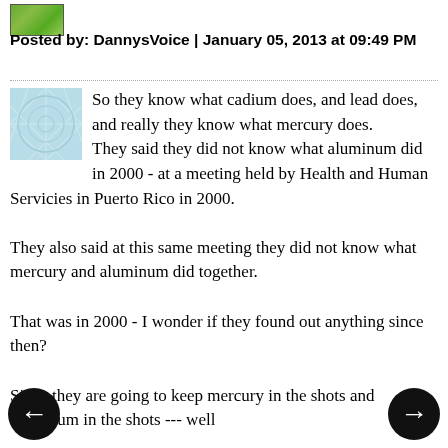[Figure (photo): Small green avatar image at top left]
Posted by: DannysVoice | January 05, 2013 at 09:49 PM
So they know what cadium does, and lead does, and really they know what mercury does.
They said they did not know what aluminum did in 2000 - at a meeting held by Health and Human Servicies in Puerto Rico in 2000.

They also said at this same meeting they did not know what mercury and aluminum did together.

That was in 2000 - I wonder if they found out anything since then?

Since they are going to keep mercury in the shots and aluminum in the shots --- well